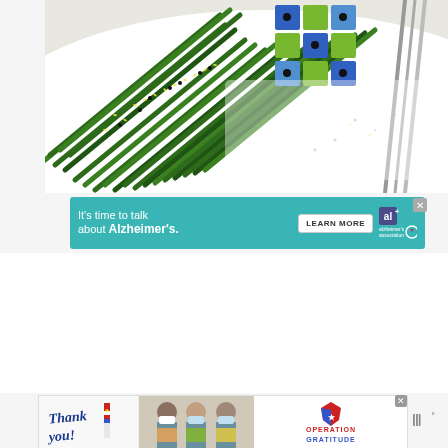[Figure (photo): Overhead photo of roasted green beans/asparagus with sesame seeds on a white plate, with a colorful mosaic tile and metal tongs visible]
[Figure (infographic): Alzheimer's Association advertisement: teal banner reading 'It's time to talk about Alzheimer's.' with a 'LEARN MORE' button and Alzheimer's association logo]
[Figure (infographic): Operation Gratitude advertisement showing handwritten 'Thank you!' text with American flag pencil, photo of masked healthcare workers holding boxes, and Operation Gratitude logo]